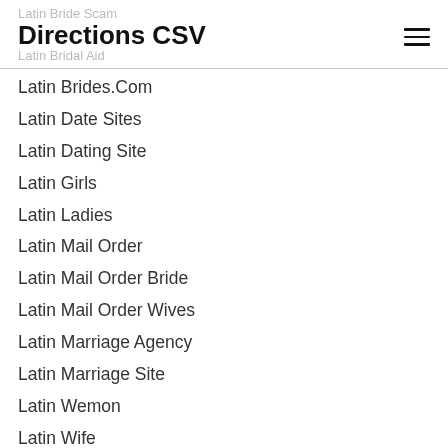Latin Bride Scam
Directions CSV
Latin Bridal Aid
Latin Brides.Com
Latin Date Sites
Latin Dating Site
Latin Girls
Latin Ladies
Latin Mail Order
Latin Mail Order Bride
Latin Mail Order Wives
Latin Marriage Agency
Latin Marriage Site
Latin Wemon
Latin Wife